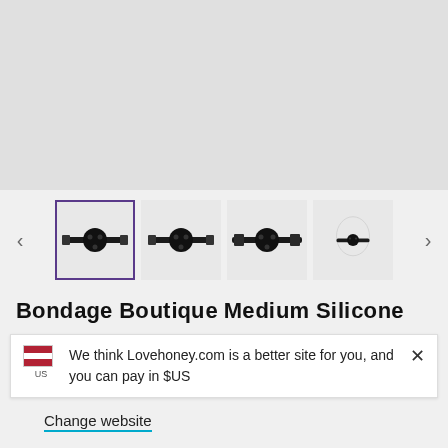[Figure (photo): Main product image area, light gray background, product image not visible]
[Figure (photo): Thumbnail gallery of a ball gag product shown from multiple angles. First thumbnail is selected with purple border.]
Bondage Boutique Medium Silicone...
We think Lovehoney.com is a better site for you, and you can pay in $US
Change website